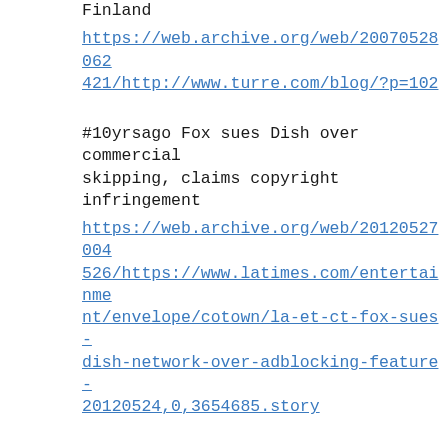Finland
https://web.archive.org/web/20070528062421/http://www.turre.com/blog/?p=102
#10yrsago Fox sues Dish over commercial skipping, claims copyright infringement
https://web.archive.org/web/20120527004526/https://www.latimes.com/entertainment/envelope/cotown/la-et-ct-fox-sues-dish-network-over-adblocking-feature-20120524,0,3654685.story
#10yrsago Google publishing data on all copyright takedowns it receives
https://www.techdirt.com/2012/05/25/odd-that-microsoft-demands-google-take-down-links-that-compete-with-microsoft/